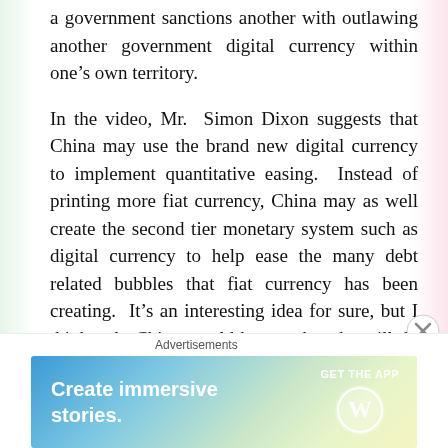a government sanctions another with outlawing another government digital currency within one's own territory.
In the video, Mr. Simon Dixon suggests that China may use the brand new digital currency to implement quantitative easing. Instead of printing more fiat currency, China may as well create the second tier monetary system such as digital currency to help ease the many debt related bubbles that fiat currency has been creating. It's an interesting idea for sure, but I think only China would know what she will do with her brand new digital currency. I guess time will tell.
Advertisements
[Figure (other): WordPress advertisement banner: 'Create immersive stories.' with 'GET THE APP' call to action and WordPress logo]